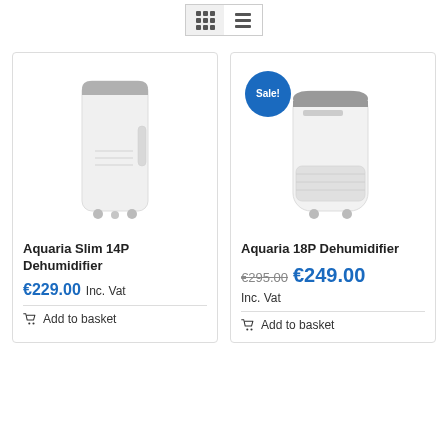[Figure (screenshot): View toggle buttons: grid view and list view icons]
[Figure (photo): Aquaria Slim 14P Dehumidifier - white tall rectangular dehumidifier with wheels]
Aquaria Slim 14P Dehumidifier
€229.00 Inc. Vat
Add to basket
[Figure (photo): Aquaria 18P Dehumidifier - white rounded dehumidifier with Sale! badge]
Aquaria 18P Dehumidifier
€295.00 €249.00 Inc. Vat
Add to basket